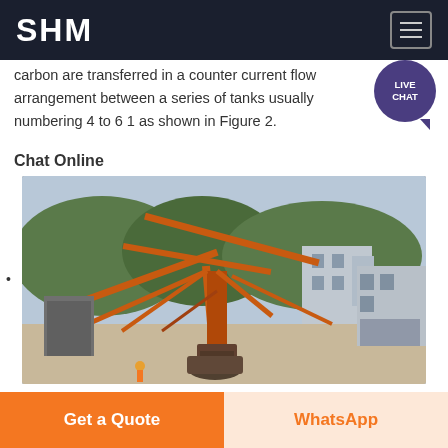SHM
carbon are transferred in a counter current flow arrangement between a series of tanks usually numbering 4 to 6 1 as shown in Figure 2.
Chat Online
[Figure (photo): Industrial mining/crushing equipment facility with large orange conveyor structures, cranes, and a grey warehouse building in the background. A worker in orange safety vest visible at bottom.]
using thickeners thickener
Get a Quote
WhatsApp